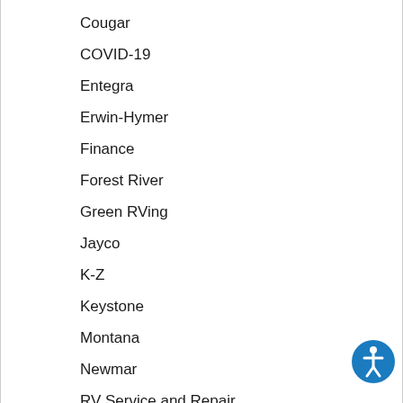Cougar
COVID-19
Entegra
Erwin-Hymer
Finance
Forest River
Green RVing
Jayco
K-Z
Keystone
Montana
Newmar
RV Service and Repair
RV Tech
[Figure (illustration): Blue circle accessibility icon with white stick figure person]